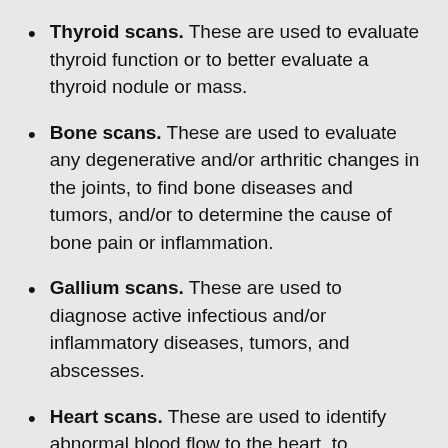Thyroid scans. These are used to evaluate thyroid function or to better evaluate a thyroid nodule or mass.
Bone scans. These are used to evaluate any degenerative and/or arthritic changes in the joints, to find bone diseases and tumors, and/or to determine the cause of bone pain or inflammation.
Gallium scans. These are used to diagnose active infectious and/or inflammatory diseases, tumors, and abscesses.
Heart scans. These are used to identify abnormal blood flow to the heart, to determine the extent of the damage of the heart muscle